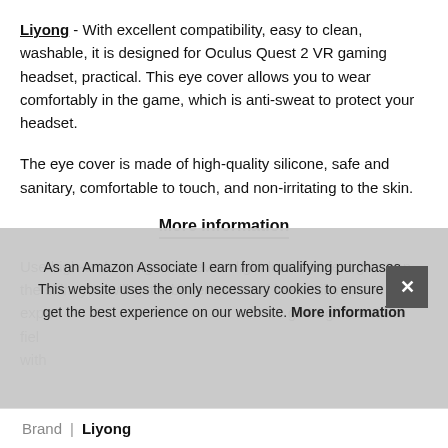Liyong - With excellent compatibility, easy to clean, washable, it is designed for Oculus Quest 2 VR gaming headset, practical. This eye cover allows you to wear comfortably in the game, which is anti-sweat to protect your headset.
The eye cover is made of high-quality silicone, safe and sanitary, comfortable to touch, and non-irritating to the skin.
More information
Use high-tech design to prevent light loss and feel great on the skin, you will get a better sense of immersion in the VR experience. Easy to install, close and large to give a wider field... with...
As an Amazon Associate I earn from qualifying purchases. This website uses the only necessary cookies to ensure you get the best experience on our website. More information
Brand | Liyong